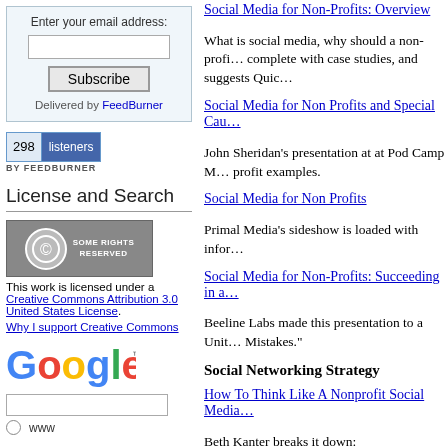Enter your email address:
Subscribe
Delivered by FeedBurner
[Figure (infographic): 298 listeners badge by FeedBurner]
License and Search
[Figure (logo): Creative Commons Some Rights Reserved badge]
This work is licensed under a Creative Commons Attribution 3.0 United States License.
Why I support Creative Commons
[Figure (logo): Google logo]
www
Social Media for Non-Profits: Overview
What is social media, why should a non-profi… complete with case studies, and suggests Quic…
Social Media for Non Profits and Special Cau…
John Sheridan's presentation at at Pod Camp M… profit examples.
Social Media for Non Profits
Primal Media's sideshow is loaded with infor…
Social Media for Non-Profits: Succeeding in a…
Beeline Labs made this presentation to a Unit… Mistakes."
Social Networking Strategy
How To Think Like A Nonprofit Social Media…
Beth Kanter breaks it down:
Understand organizational change th…
Use the Rule of Thirds (1/3 web pre…
Listen first
Build relationships with influencers…
Make it easy to re-mix your content
No instant gratification — results re…
Use metrics to discover what works…
Creating Your Organization's Social Media St…